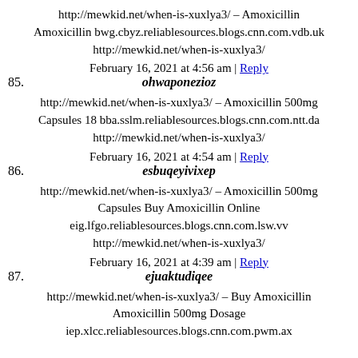http://mewkid.net/when-is-xuxlya3/ – Amoxicillin Amoxicillin bwg.cbyz.reliablesources.blogs.cnn.com.vdb.uk http://mewkid.net/when-is-xuxlya3/
February 16, 2021 at 4:56 am | Reply
85. ohwaponezioz
http://mewkid.net/when-is-xuxlya3/ – Amoxicillin 500mg Capsules 18 bba.sslm.reliablesources.blogs.cnn.com.ntt.da http://mewkid.net/when-is-xuxlya3/
February 16, 2021 at 4:54 am | Reply
86. esbuqeyivixep
http://mewkid.net/when-is-xuxlya3/ – Amoxicillin 500mg Capsules Buy Amoxicillin Online eig.lfgo.reliablesources.blogs.cnn.com.lsw.vv http://mewkid.net/when-is-xuxlya3/
February 16, 2021 at 4:39 am | Reply
87. ejuaktudiqee
http://mewkid.net/when-is-xuxlya3/ – Buy Amoxicillin Amoxicillin 500mg Dosage iep.xlcc.reliablesources.blogs.cnn.com.pwm.ax